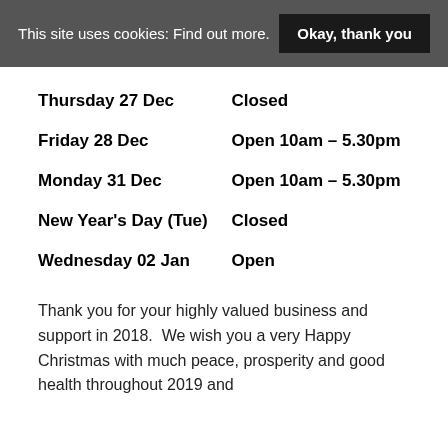This site uses cookies: Find out more.
| Day | Hours |
| --- | --- |
| Thursday 27 Dec | Closed |
| Friday 28 Dec | Open 10am – 5.30pm |
| Monday 31 Dec | Open 10am – 5.30pm |
| New Year's Day (Tue) | Closed |
| Wednesday 02 Jan | Open |
Thank you for your highly valued business and support in 2018.  We wish you a very Happy Christmas with much peace, prosperity and good health throughout 2019 and